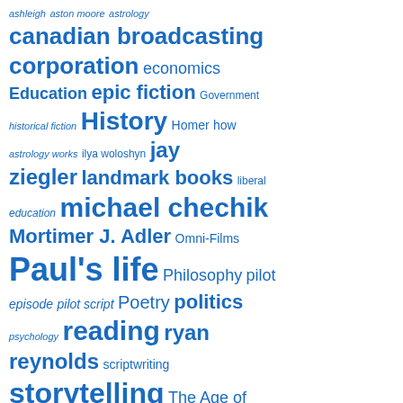[Figure (infographic): A tag cloud / word cloud showing various topics and names in different font sizes, all in blue color on white background. Larger text indicates higher frequency/importance. Topics include: ashleigh, aston moore, astrology, canadian broadcasting corporation, economics, Education, epic fiction, Government, historical fiction, History, Homer, how astrology works, ilya woloshyn, jay ziegler, landmark books, liberal education, michael chechik, Mortimer J. Adler, Omni-Films, Paul's life, Philosophy, pilot episode, pilot script, Poetry, politics, psychology, reading, ryan reynolds, scriptwriting, storytelling, The Age of Pisces, the Bible, the environment, the Great Books, the Great Ideas, the jellybean odyssey, the odyssey, odyssey, the world situation, tony sampson, tv series, warren easton, Wealth, what's wrong with...]